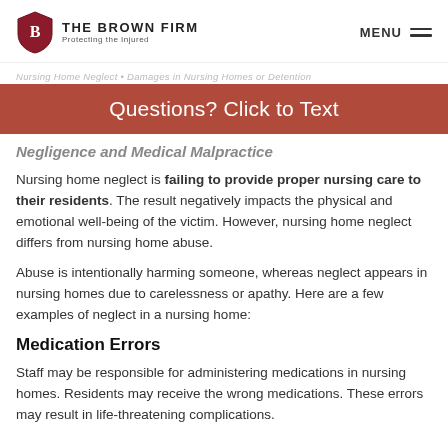THE BROWN FIRM — Protecting the Injured | MENU
Negligence and Medical Malpractice
[Figure (other): Red/brown call-to-action banner: Questions? Click to Text]
Negligence and Medical Malpractice
Nursing home neglect is failing to provide proper nursing care to their residents. The result negatively impacts the physical and emotional well-being of the victim. However, nursing home neglect differs from nursing home abuse.
Abuse is intentionally harming someone, whereas neglect appears in nursing homes due to carelessness or apathy. Here are a few examples of neglect in a nursing home:
Medication Errors
Staff may be responsible for administering medications in nursing homes. Residents may receive the wrong medications. These errors may result in life-threatening complications.